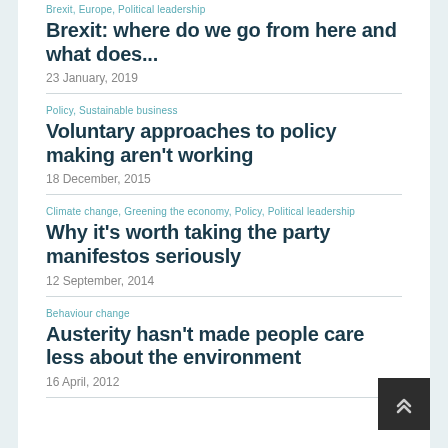Brexit, Europe, Political leadership
Brexit: where do we go from here and what does...
23 January, 2019
Policy, Sustainable business
Voluntary approaches to policy making aren't working
18 December, 2015
Climate change, Greening the economy, Policy, Political leadership
Why it's worth taking the party manifestos seriously
12 September, 2014
Behaviour change
Austerity hasn't made people care less about the environment
16 April, 2012